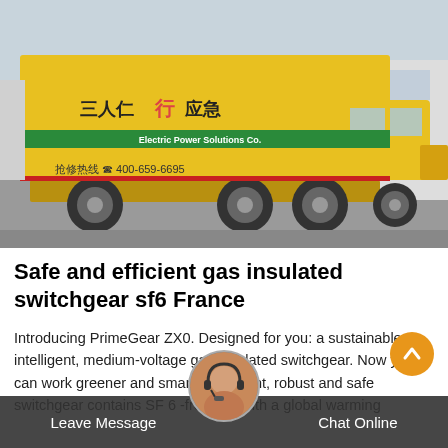[Figure (photo): A yellow utility/service truck with Chinese text and phone number 400-659-6695 written on the side panel, parked in an industrial area. The truck appears to be a power company service vehicle.]
Safe and efficient gas insulated switchgear sf6 France
Introducing PrimeGear ZX0. Designed for you: a sustainable intelligent, medium-voltage gas-insulated switchgear. Now you can work greener and smarter. Efficient, robust and safe switchgear contains SF 6 -free gas with a global warming